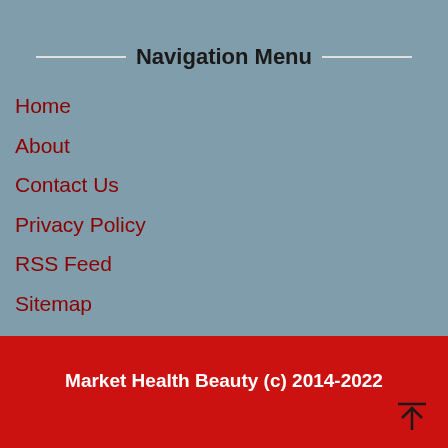Navigation Menu
Home
About
Contact Us
Privacy Policy
RSS Feed
Sitemap
Market Health Beauty (c) 2014-2022